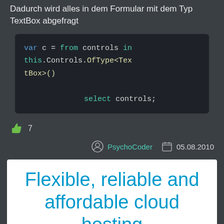Dadurch wird alles in dem Formular mit dem Typ TextBox abgefragt
[Figure (screenshot): Code snippet showing: var c = from controls in this.Controls.OfType<TextBox>()   select controls;]
7
PsychoCoder  05.08.2010
Flexible, reliable and affordable cloud hosting